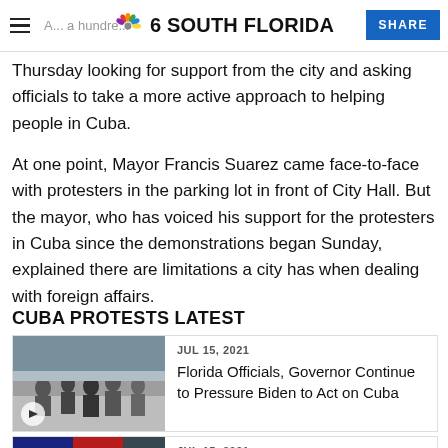NBC 6 South Florida | SHARE
Thursday looking for support from the city and asking officials to take a more active approach to helping people in Cuba.
At one point, Mayor Francis Suarez came face-to-face with protesters in the parking lot in front of City Hall. But the mayor, who has voiced his support for the protesters in Cuba since the demonstrations began Sunday, explained there are limitations a city has when dealing with foreign affairs.
CUBA PROTESTS LATEST
[Figure (photo): Photo of protesters, thumbnail image for related article]
JUL 15, 2021
Florida Officials, Governor Continue to Pressure Biden to Act on Cuba
[Figure (photo): Thumbnail image for second related article, partially visible]
JUL 15, 2021